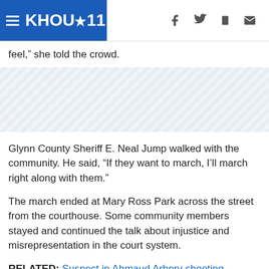KHOU 11
feel," she told the crowd.
[Figure (other): Advertisement / image placeholder with diagonal hatching pattern]
Glynn County Sheriff E. Neal Jump walked with the community. He said, “If they want to march, I’ll march right along with them.”
The march ended at Mary Ross Park across the street from the courthouse. Some community members stayed and continued the talk about injustice and misrepresentation in the court system.
RELATED: Suspect in Ahmaud Arbery shooting